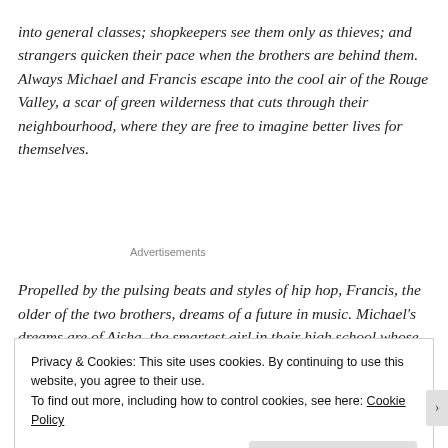into general classes; shopkeepers see them only as thieves; and strangers quicken their pace when the brothers are behind them. Always Michael and Francis escape into the cool air of the Rouge Valley, a scar of green wilderness that cuts through their neighbourhood, where they are free to imagine better lives for themselves.
Advertisements
Propelled by the pulsing beats and styles of hip hop, Francis, the older of the two brothers, dreams of a future in music. Michael's dreams are of Aisha, the smartest girl in their high school whose own eyes are firmly set
Privacy & Cookies: This site uses cookies. By continuing to use this website, you agree to their use.
To find out more, including how to control cookies, see here: Cookie Policy